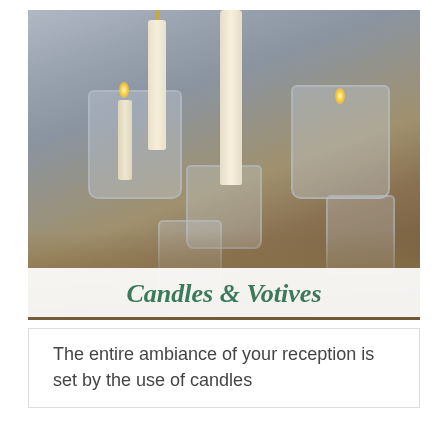[Figure (photo): Multiple glass mason jars and votives with lit candles, arranged on a sandy surface. Tall taper candles and shorter pillar candles illuminate the scene against a soft gray background.]
Candles & Votives
The entire ambiance of your reception is set by the use of candles